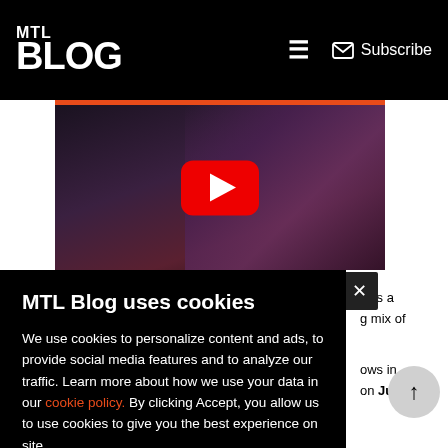MTL Blog — Subscribe
[Figure (screenshot): YouTube video thumbnail showing a fitness/workout scene with a woman in athletic wear, dark background, with a red YouTube play button in the center]
ni is a g mix of
ows in on July
MTL Blog uses cookies
We use cookies to personalize content and ads, to provide social media features and to analyze our traffic. Learn more about how we use your data in our cookie policy. By clicking Accept, you allow us to use cookies to give you the best experience on site.